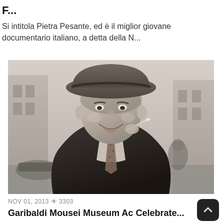F...
Si intitola Pietra Pesante, ed è il miglior giovane documentario italiano, a detta della N...
[Figure (photo): Black and white vintage photograph of a smiling man wearing a wide-brimmed fedora hat, holding a cigarette, outdoors on a city street.]
NOV 01, 2013 👁 3303
Garibaldi Mousei Museum Ac Celebrate...